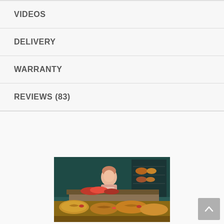VIDEOS
DELIVERY
WARRANTY
REVIEWS (83)
[Figure (photo): A person working behind a bakery counter with various baked goods displayed in the foreground, including pastries and breads.]